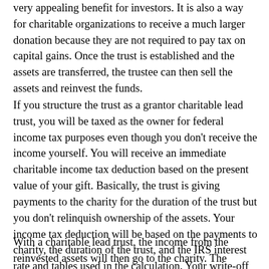very appealing benefit for investors. It is also a way for charitable organizations to receive a much larger donation because they are not required to pay tax on capital gains. Once the trust is established and the assets are transferred, the trustee can then sell the assets and reinvest the funds.
If you structure the trust as a grantor charitable lead trust, you will be taxed as the owner for federal income tax purposes even though you don't receive the income yourself. You will receive an immediate charitable income tax deduction based on the present value of your gift. Basically, the trust is giving payments to the charity for the duration of the trust but you don't relinquish ownership of the assets. Your income tax deduction will be based on the payments to charity, the duration of the trust, and the IRS interest rate and tables used in the calculation. Your write-off may be limited to a portion of adjusted gross income but can be carried forward to future years.
With a charitable lead trust, the income from the reinvested assets will then go to the charity. The charity will receive distributions for the duration of the trust. You may specify